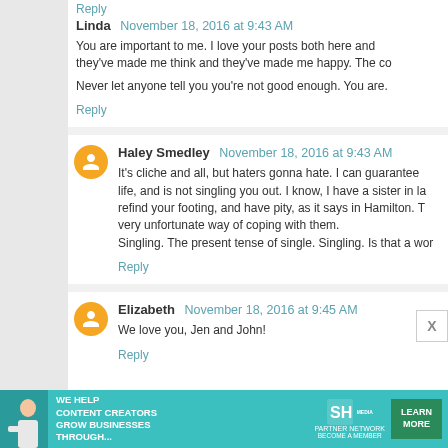Reply
Linda  November 18, 2016 at 9:43 AM
You are important to me. I love your posts both here and they've made me think and they've made me happy. The co
Never let anyone tell you you're not good enough. You are.
Reply
Haley Smedley  November 18, 2016 at 9:43 AM
It's cliche and all, but haters gonna hate. I can guarantee life, and is not singling you out. I know, I have a sister in la refind your footing, and have pity, as it says in Hamilton. T very unfortunate way of coping with them.
Singling. The present tense of single. Singling. Is that a wor
Reply
Elizabeth  November 18, 2016 at 9:45 AM
We love you, Jen and John!
Reply
[Figure (infographic): Advertisement banner for SHE Media Partner Network with text 'We Help Content Creators Grow Businesses Through...' and a Learn More button]